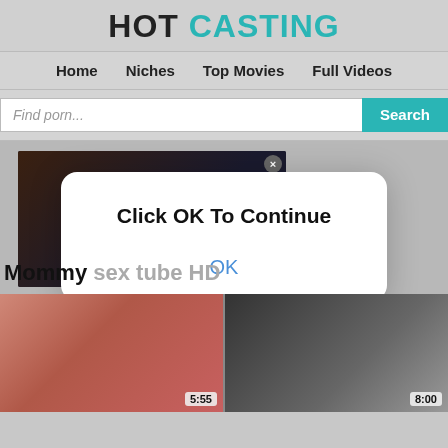HOT CASTING
Home   Niches   Top Movies   Full Videos
Find porn...  Search
[Figure (screenshot): Adult website with ad banner showing 'WHY PAY TO FU**' with close button, overlaid by a browser dialog modal saying 'Click OK To Continue' with an OK button in blue text.]
Mommy sex tube HD
[Figure (screenshot): Two video thumbnails side by side. Left: 5:55 duration, adult content. Right: 8:00 duration, two people facing each other.]